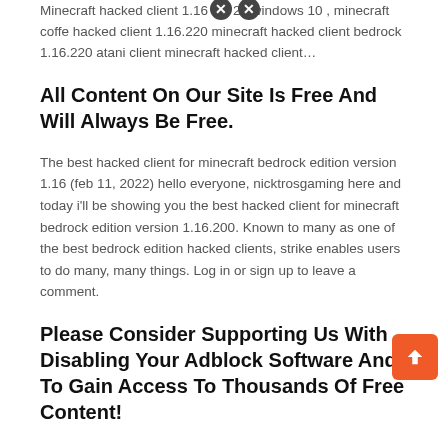Minecraft hacked client 1.16.220 windows 10 , minecraft coffe hacked client 1.16.220 minecraft hacked client bedrock 1.16.220 atani client minecraft hacked client...
All Content On Our Site Is Free And Will Always Be Free.
The best hacked client for minecraft bedrock edition version 1.16 (feb 11, 2022) hello everyone, nicktrosgaming here and today i'll be showing you the best hacked client for minecraft bedrock edition version 1.16.200. Known to many as one of the best bedrock edition hacked clients, strike enables users to do many, many things. Log in or sign up to leave a comment.
Please Consider Supporting Us With Disabling Your Adblock Software And To Gain Access To Thousands Of Free Content!